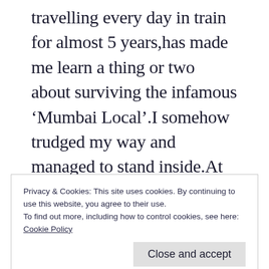travelling every day in train for almost 5 years,has made me learn a thing or two about surviving the infamous ‘Mumbai Local’.I somehow trudged my way and managed to stand inside.At the next station,I got a seat.I was delighted. I quickly sat down and removed my earphones and got consumed in my own thoughts.The crowd was increasing with each passing station.I could hear women
Privacy & Cookies: This site uses cookies. By continuing to use this website, you agree to their use.
To find out more, including how to control cookies, see here: Cookie Policy
Close and accept
and herself carrying various loads and